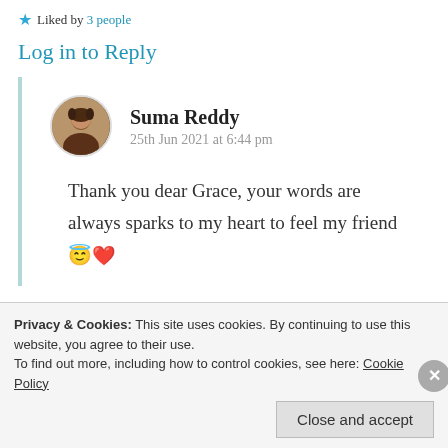★ Liked by 3 people
Log in to Reply
Suma Reddy
25th Jun 2021 at 6:44 pm
Thank you dear Grace, your words are always sparks to my heart to feel my friend 😇❤️
Privacy & Cookies: This site uses cookies. By continuing to use this website, you agree to their use.
To find out more, including how to control cookies, see here: Cookie Policy
Close and accept